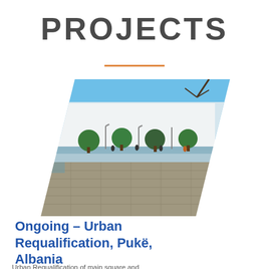PROJECTS
[Figure (illustration): Architectural rendering of an urban plaza with a reflecting pool, trees, white building facade, and paved walkway in a parallelogram/arrow-shaped clip]
Ongoing - Urban Requalification, Pukë, Albania
Urban Requalification of main square and...